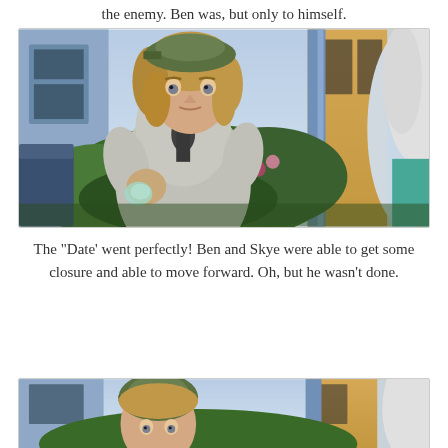the enemy. Ben was, but only to himself.
[Figure (screenshot): Screenshot from The Sims 4 game showing a male Sim with light brown hair and a green cap, wearing a grey zip-up jacket, sitting outdoors and holding something in his hand. A female Sim with white/grey hair wearing a teal top is visible on the right edge. Blue house exterior and garden with colorful flowers in the background.]
The "Date' went perfectly! Ben and Skye were able to get some closure and able to move forward. Oh, but he wasn't done.
[Figure (screenshot): Partial screenshot from The Sims 4 game showing the bottom portion of the same outdoor scene, with a male Sim in a green cap and a female Sim partially visible, along with the house exterior.]